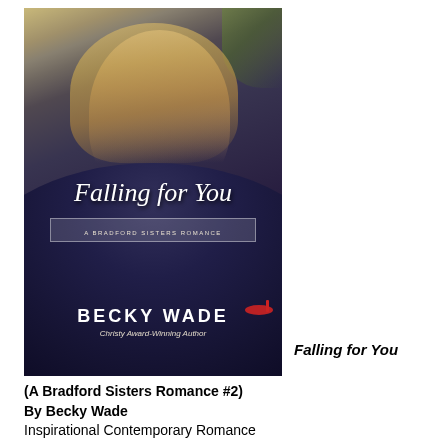[Figure (photo): Book cover of 'Falling for You' by Becky Wade. A Bradford Sisters Romance. Shows a blonde woman in a dark navy ball gown sitting on stone steps with foliage in background. Red high heel shoes visible. Author name at bottom: Becky Wade, Christy Award-Winning Author.]
Falling for You
(A Bradford Sisters Romance #2)
By Becky Wade
Inspirational Contemporary Romance